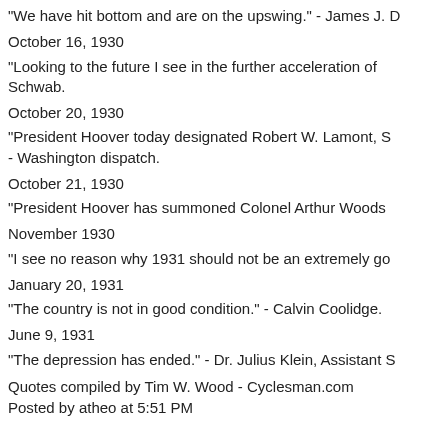"We have hit bottom and are on the upswing." - James J. D
October 16, 1930
"Looking to the future I see in the further acceleration of Schwab.
October 20, 1930
"President Hoover today designated Robert W. Lamont, S - Washington dispatch.
October 21, 1930
"President Hoover has summoned Colonel Arthur Woods
November 1930
"I see no reason why 1931 should not be an extremely go
January 20, 1931
"The country is not in good condition." - Calvin Coolidge.
June 9, 1931
"The depression has ended." - Dr. Julius Klein, Assistant S
Quotes compiled by Tim W. Wood - Cyclesman.com
Posted by atheo at 5:51 PM